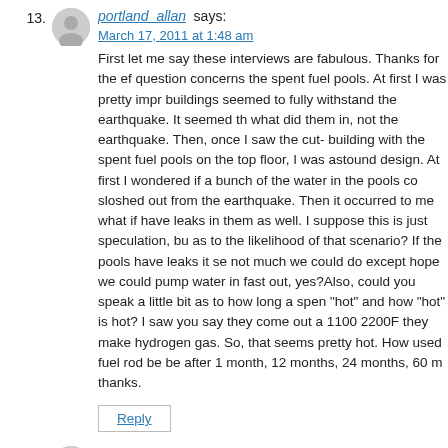13. portland_allan says:
March 17, 2011 at 1:48 am
First let me say these interviews are fabulous. Thanks for the ef question concerns the spent fuel pools. At first I was pretty impr buildings seemed to fully withstand the earthquake. It seemed th what did them in, not the earthquake. Then, once I saw the cut- building with the spent fuel pools on the top floor, I was astound design. At first I wondered if a bunch of the water in the pools co sloshed out from the earthquake. Then it occurred to me what if have leaks in them as well. I suppose this is just speculation, bu as to the likelihood of that scenario? If the pools have leaks it se not much we could do except hope we could pump water in fast out, yes?Also, could you speak a little bit as to how long a spen "hot" and how "hot" is hot? I saw you say they come out a 1100 2200F they make hydrogen gas. So, that seems pretty hot. How used fuel rod be be after 1 month, 12 months, 24 months, 60 m thanks.
14. nancybarth says: